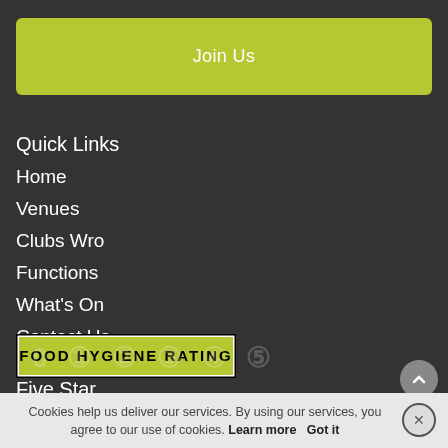Join Us
Quick Links
Home
Venues
Clubs Wro
Functions
What's On
Contact Us
Five Star
[Figure (other): Food Hygiene Rating badge with numbers 0 1 2 3 4 5 shown below]
Cookies help us deliver our services. By using our services, you agree to our use of cookies. Learn more  Got it